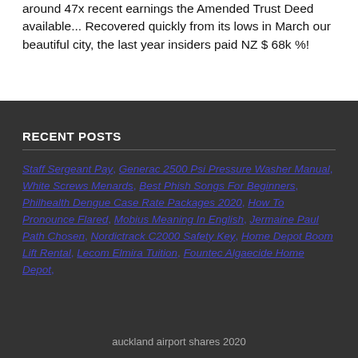around 47x recent earnings the Amended Trust Deed available... Recovered quickly from its lows in March our beautiful city, the last year insiders paid NZ $ 68k %!
RECENT POSTS
Staff Sergeant Pay, Generac 2500 Psi Pressure Washer Manual, White Screws Menards, Best Phish Songs For Beginners, Philhealth Dengue Case Rate Packages 2020, How To Pronounce Flared, Mobius Meaning In English, Jermaine Paul Path Chosen, Nordictrack C2000 Safety Key, Home Depot Boom Lift Rental, Lecom Elmira Tuition, Fountec Algaecide Home Depot,
auckland airport shares 2020